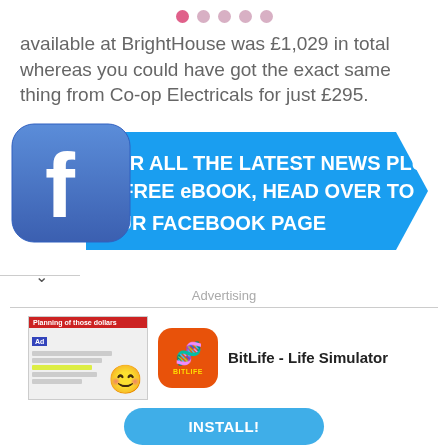[Figure (other): Five navigation dots at top, first dot highlighted in pink/magenta, remaining four in lighter pink]
available at BrightHouse was £1,029 in total whereas you could have got the exact same thing from Co-op Electricals for just £295.
[Figure (infographic): Facebook logo icon (blue rounded square with white 'f') next to a blue arrow banner reading 'FOR ALL THE LATEST NEWS PLUS A FREE eBOOK, HEAD OVER TO OUR FACEBOOK PAGE']
Advertising
[Figure (screenshot): Advertisement banner: thumbnail showing an ad image with a smiley emoji, next to BitLife app icon (orange with sperm symbol and 'BITLIFE' text), app name 'BitLife - Life Simulator', and an INSTALL! button]